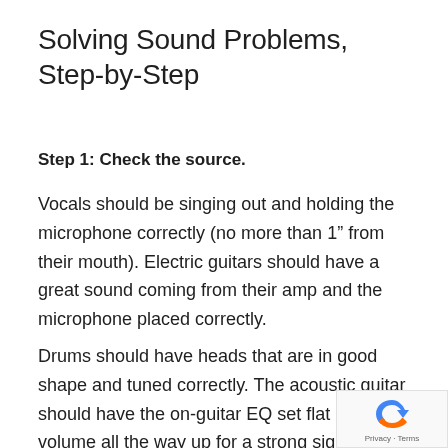Solving Sound Problems, Step-by-Step
Step 1: Check the source.
Vocals should be singing out and holding the microphone correctly (no more than 1” from their mouth). Electric guitars should have a great sound coming from their amp and the microphone placed correctly.
Drums should have heads that are in good shape and tuned correctly. The acoustic guitar should have the on-guitar EQ set flat and the volume all the way up for a strong signal. Keyboards should be sending
[Figure (logo): Google reCAPTCHA badge with recycling-style arrow icon and Privacy · Terms text]